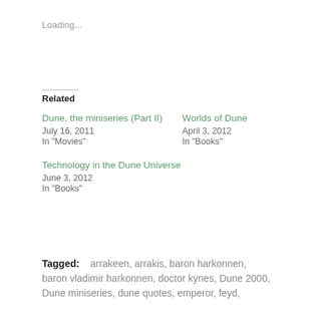Loading...
Related
Dune, the miniseries (Part II)
July 16, 2011
In "Movies"
Worlds of Dune
April 3, 2012
In "Books"
Technology in the Dune Universe
June 3, 2012
In "Books"
Tagged:   arrakeen, arrakis, baron harkonnen, baron vladimir harkonnen, doctor kynes, Dune 2000, Dune miniseries, dune quotes, emperor, feyd,